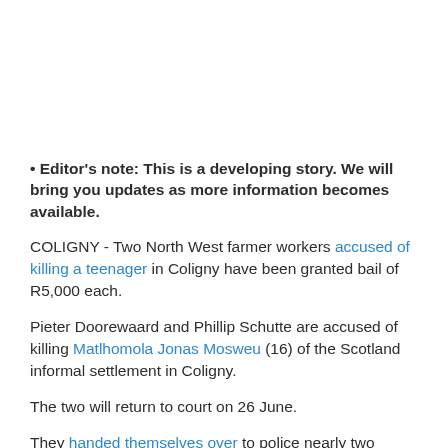• Editor's note: This is a developing story. We will bring you updates as more information becomes available.
COLIGNY - Two North West farmer workers accused of killing a teenager in Coligny have been granted bail of R5,000 each.
Pieter Doorewaard and Phillip Schutte are accused of killing Matlhomola Jonas Mosweu (16) of the Scotland informal settlement in Coligny.
The two will return to court on 26 June.
They handed themselves over to police nearly two weeks ago.
Magistrate Magaola Foso said the bail application